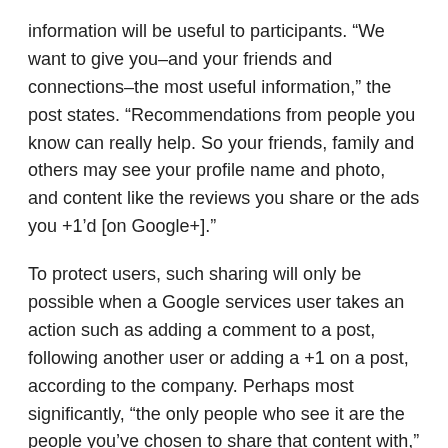information will be useful to participants. “We want to give you–and your friends and connections–the most useful information,” the post states. “Recommendations from people you know can really help. So your friends, family and others may see your profile name and photo, and content like the reviews you share or the ads you +1’d [on Google+].”
To protect users, such sharing will only be possible when a Google services user takes an action such as adding a comment to a post, following another user or adding a +1 on a post, according to the company. Perhaps most significantly, “the only people who see it are the people you’ve chosen to share that content with,” the post states.
“On Google, you’re in control of what you share,” according to Google. “T                                                    x ange in any w                                                    or your